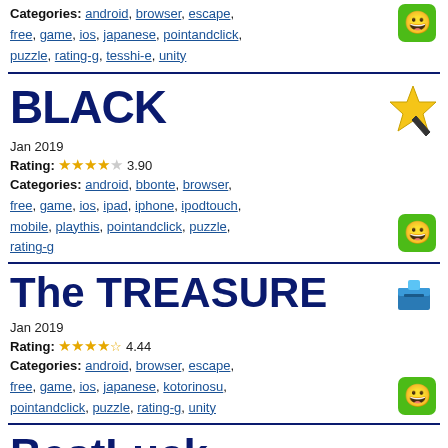Categories: android, browser, escape, free, game, ios, japanese, pointandclick, puzzle, rating-g, tesshi-e, unity
[Figure (illustration): Green rounded square icon with a smiley face]
BLACK
Jan 2019
Rating: 3.90
[Figure (illustration): Star cursor icon]
Categories: android, bbonte, browser, free, game, ios, ipad, iphone, ipodtouch, mobile, playthis, pointandclick, puzzle, rating-g
[Figure (illustration): Green rounded square icon with a smiley face]
The TREASURE
Jan 2019
Rating: 4.44
[Figure (illustration): Blue box/chest icon]
Categories: android, browser, escape, free, game, ios, japanese, kotorinosu, pointandclick, puzzle, rating-g, unity
[Figure (illustration): Green rounded square icon with a smiley face]
BestLuck